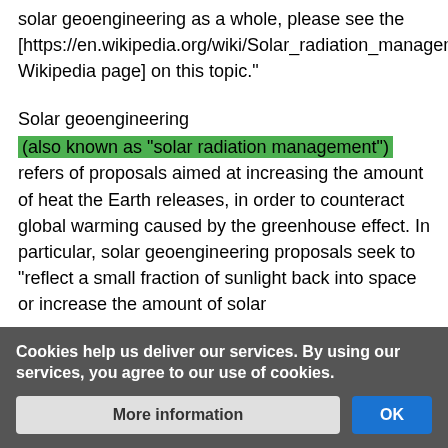solar geoengineering as a whole, please see the [https://en.wikipedia.org/wiki/Solar_radiation_management Wikipedia page] on this topic."
Solar geoengineering
(also known as "solar radiation management") refers of proposals aimed at increasing the amount of heat the Earth releases, in order to counteract global warming caused by the greenhouse effect. In particular, solar geoengineering proposals seek to "reflect a small fraction of sunlight back into space or increase the amount of solar
Priya
BUREAUCRATS, CONFIRMED USERS, INTERFACE ADMINISTRATORS,
248
EDITS
Cookies help us deliver our services. By using our services, you agree to our use of cookies.